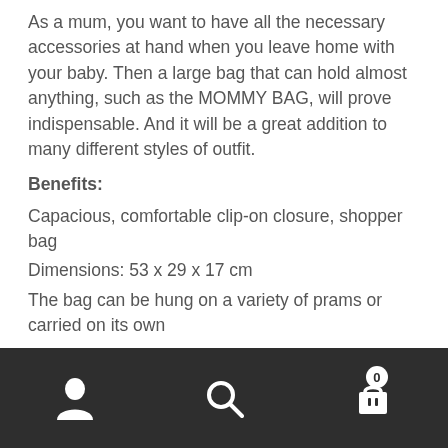As a mum, you want to have all the necessary accessories at hand when you leave home with your baby. Then a large bag that can hold almost anything, such as the MOMMY BAG, will prove indispensable. And it will be a great addition to many different styles of outfit.
Benefits:
Capacious, comfortable clip-on closure, shopper bag
Dimensions: 53 x 29 x 17 cm
The bag can be hung on a variety of prams or carried on its own
The bag is made of durable, waterproof material – resistant to dirt and abrasion
Original design with stylish imitation leather handles
Compartments and closed pockets to help organise the
Navigation bar with user, search, and cart icons